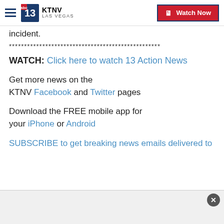KTNV LAS VEGAS | Watch Now
incident.
**************************************************
WATCH: Click here to watch 13 Action News
Get more news on the KTNV Facebook and Twitter pages
Download the FREE mobile app for your iPhone or Android
SUBSCRIBE to get breaking news emails delivered to